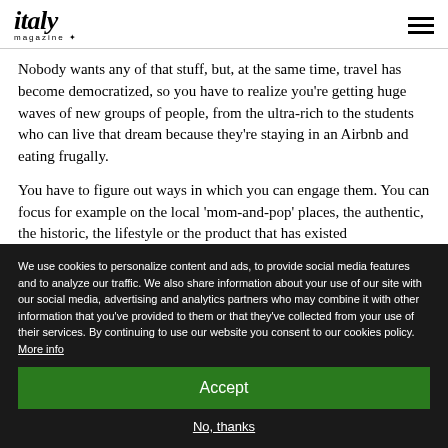italy magazine
Nobody wants any of that stuff, but, at the same time, travel has become democratized, so you have to realize you're getting huge waves of new groups of people, from the ultra-rich to the students who can live that dream because they're staying in an Airbnb and eating frugally.
You have to figure out ways in which you can engage them. You can focus for example on the local 'mom-and-pop' places, the authentic, the historic, the lifestyle or the product that has existed for...
We use cookies to personalize content and ads, to provide social media features and to analyze our traffic. We also share information about your use of our site with our social media, advertising and analytics partners who may combine it with other information that you've provided to them or that they've collected from your use of their services. By continuing to use our website you consent to our cookies policy. More info
Accept
No, thanks